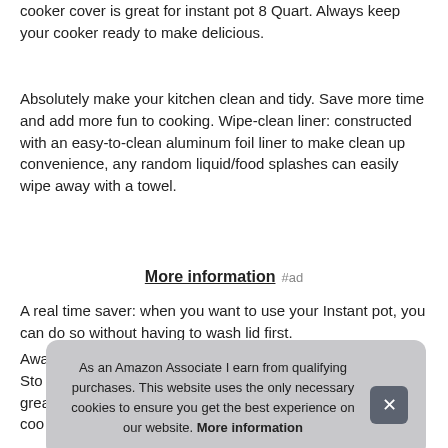cooker cover is great for instant pot 8 Quart. Always keep your cooker ready to make delicious.
Absolutely make your kitchen clean and tidy. Save more time and add more fun to cooking. Wipe-clean liner: constructed with an easy-to-clean aluminum foil liner to make clean up convenience, any random liquid/food splashes can easily wipe away with a towel.
More information #ad
A real time saver: when you want to use your Instant pot, you can do so without having to wash lid first.
Awa Sto grea coo
As an Amazon Associate I earn from qualifying purchases. This website uses the only necessary cookies to ensure you get the best experience on our website. More information